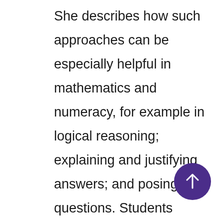She describes how such approaches can be especially helpful in mathematics and numeracy, for example in logical reasoning; explaining and justifying answers; and posing questions. Students suggest that working in groups has helped them develop multiple approaches to solving problems.

Collaborative learning occurs w students work in small groups to cooperatively solve problems. When